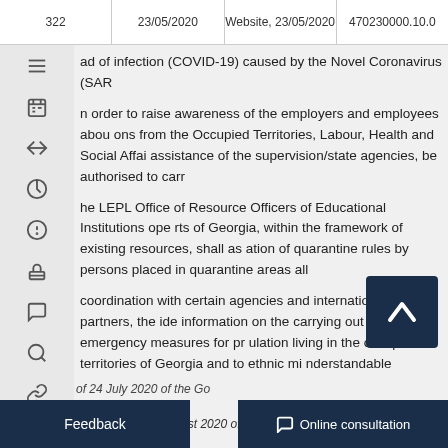322 | 23/05/2020 | Website, 23/05/2020 | 470230000.10.0
ad of infection (COVID-19) caused by the Novel Coronavirus (SAR
n order to raise awareness of the employers and employees abou ons from the Occupied Territories, Labour, Health and Social Affai assistance of the supervision/state agencies, be authorised to carr
he LEPL Office of Resource Officers of Educational Institutions ope rts of Georgia, within the framework of existing resources, shall as ation of quarantine rules by persons placed in quarantine areas all
coordination with certain agencies and international partners, the ide information on the carrying out of emergency measures for pr ulation living in the occupied territories of Georgia and to ethnic m nderstandable language and through available means of communi anisations, the Office of the State Minister of Georgia for Reconcili
Deleted – 26.3.2021, No140).
Deleted – 26.3.2021, No140).
of 24 July 2020 of the Go
pnance No 515 of 19 August 2020 of the Government of Georgi